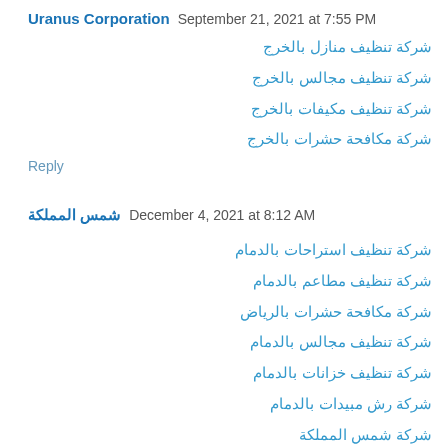Uranus Corporation  September 21, 2021 at 7:55 PM
شركة تنظيف منازل بالخرج
شركة تنظيف مجالس بالخرج
شركة تنظيف مكيفات بالخرج
شركة مكافحة حشرات بالخرج
Reply
شمس المملكة  December 4, 2021 at 8:12 AM
شركة تنظيف استراحات بالدمام
شركة تنظيف مطاعم بالدمام
شركة مكافحة حشرات بالرياض
شركة تنظيف مجالس بالدمام
شركة تنظيف خزانات بالدمام
شركة رش مبيدات بالدمام
شركة شمس المملكة
Reply
To leave a comment, click the button below to sign in with Google.